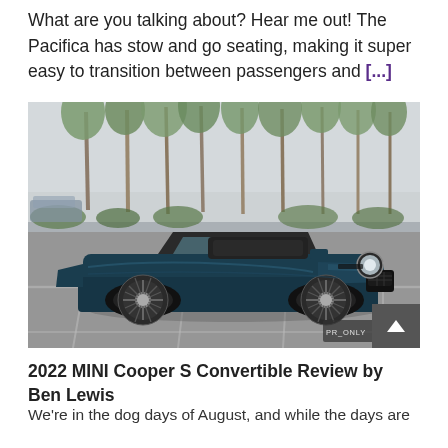What are you talking about? Hear me out! The Pacifica has stow and go seating, making it super easy to transition between passengers and [...]
[Figure (photo): A dark teal/navy blue MINI Cooper S Convertible with the top down, parked in a paved parking lot with palm trees and a light overcast sky in the background.]
2022 MINI Cooper S Convertible Review by Ben Lewis
We're in the dog days of August, and while the days are